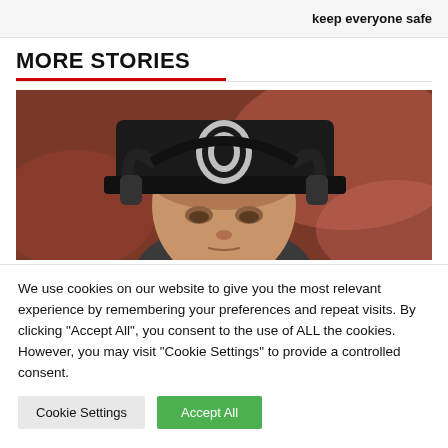keep everyone safe
MORE STORIES
[Figure (photo): Close-up photo of a man wearing a black Raiders NFL cap and headphones, looking downward, with a blurred red background]
We use cookies on our website to give you the most relevant experience by remembering your preferences and repeat visits. By clicking "Accept All", you consent to the use of ALL the cookies. However, you may visit "Cookie Settings" to provide a controlled consent.
Cookie Settings
Accept All